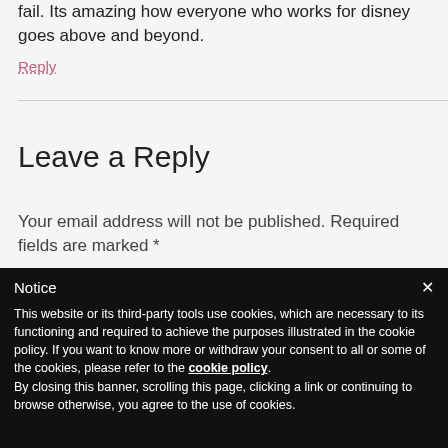fail. Its amazing how everyone who works for disney goes above and beyond.
Reply
Leave a Reply
Your email address will not be published. Required fields are marked *
Notice × This website or its third-party tools use cookies, which are necessary to its functioning and required to achieve the purposes illustrated in the cookie policy. If you want to know more or withdraw your consent to all or some of the cookies, please refer to the cookie policy. By closing this banner, scrolling this page, clicking a link or continuing to browse otherwise, you agree to the use of cookies.